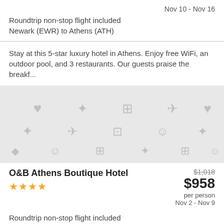Nov 10 - Nov 16
Roundtrip non-stop flight included
Newark (EWR) to Athens (ATH)
Stay at this 5-star luxury hotel in Athens. Enjoy free WiFi, an outdoor pool, and 3 restaurants. Our guests praise the breakf...
[Figure (photo): Placeholder image with travel and hotel icons on a light gray background]
O&B Athens Boutique Hotel
★★★★
$1,018
$958
per person
Nov 2 - Nov 9
Roundtrip non-stop flight included
New York (JFK) to Athens (ATH)